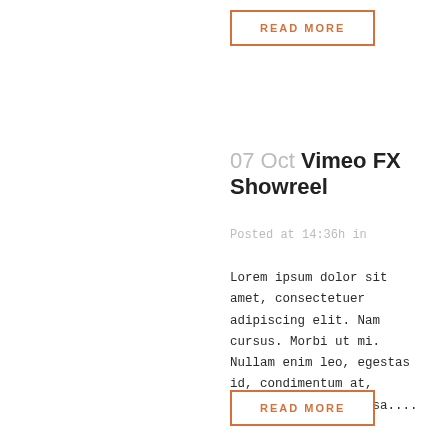READ MORE
07 Oct Vimeo FX Showreel
Posted at 14:36h in
Lorem ipsum dolor sit amet, consectetuer adipiscing elit. Nam cursus. Morbi ut mi. Nullam enim leo, egestas id, condimentum at, laoreet mattis, massa....
READ MORE